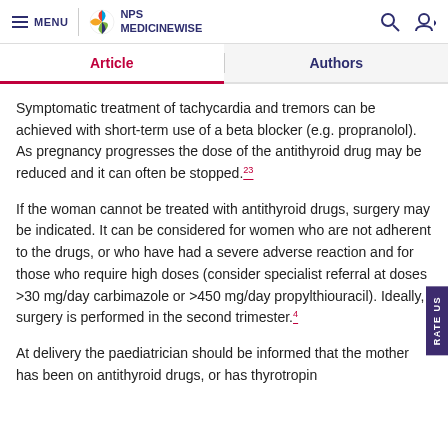MENU | NPS MEDICINEWISE
Article | Authors
Symptomatic treatment of tachycardia and tremors can be achieved with short-term use of a beta blocker (e.g. propranolol). As pregnancy progresses the dose of the antithyroid drug may be reduced and it can often be stopped.23
If the woman cannot be treated with antithyroid drugs, surgery may be indicated. It can be considered for women who are not adherent to the drugs, or who have had a severe adverse reaction and for those who require high doses (consider specialist referral at doses >30 mg/day carbimazole or >450 mg/day propylthiouracil). Ideally, surgery is performed in the second trimester.4
At delivery the paediatrician should be informed that the mother has been on antithyroid drugs, or has thyrotropin